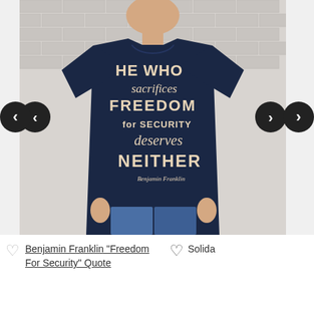[Figure (photo): A person wearing a navy blue t-shirt with a Benjamin Franklin quote printed on it: 'He who sacrifices Freedom for Security deserves Neither' in mixed typography styles on the chest. The person is standing in front of a white brick wall. Navigation arrows (left and right) appear on either side of the image.]
Benjamin Franklin "Freedom For Security" Quote
Solida